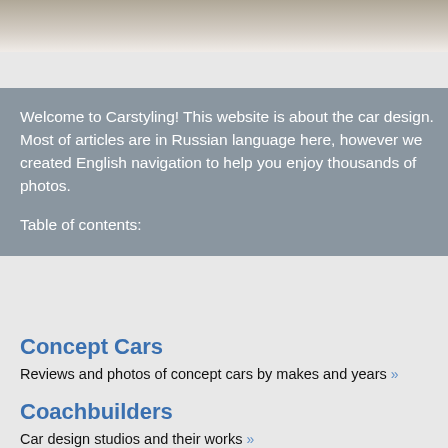[Figure (photo): Partial photo of a car, cropped at top, showing light background and dark vehicle detail]
Welcome to Carstyling! This website is about the car design. Most of articles are in Russian language here, however we created English navigation to help you enjoy thousands of photos.

Table of contents:
Concept Cars
Reviews and photos of concept cars by makes and years »
Coachbuilders
Car design studios and their works »
Milestones
Timeline of car design milestones, most eminent examples of car styling »